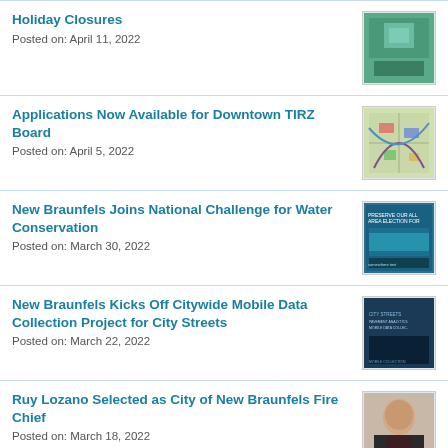Holiday Closures
Posted on: April 11, 2022
Applications Now Available for Downtown TIRZ Board
Posted on: April 5, 2022
New Braunfels Joins National Challenge for Water Conservation
Posted on: March 30, 2022
New Braunfels Kicks Off Citywide Mobile Data Collection Project for City Streets
Posted on: March 22, 2022
Ruy Lozano Selected as City of New Braunfels Fire Chief
Posted on: March 18, 2022
New Braunfels Community Survey Hits Local Mailboxes this Week